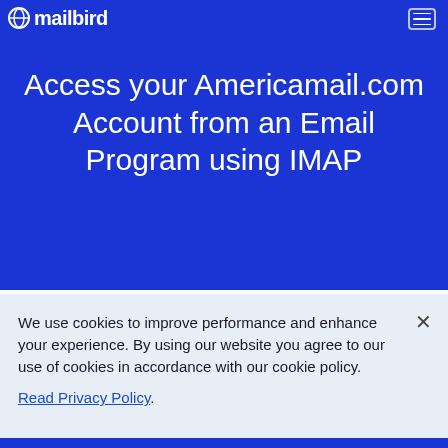mailbird
Access your Americamail.com Account from an Email Program using IMAP
We use cookies to improve performance and enhance your experience. By using our website you agree to our use of cookies in accordance with our cookie policy.

Read Privacy Policy.